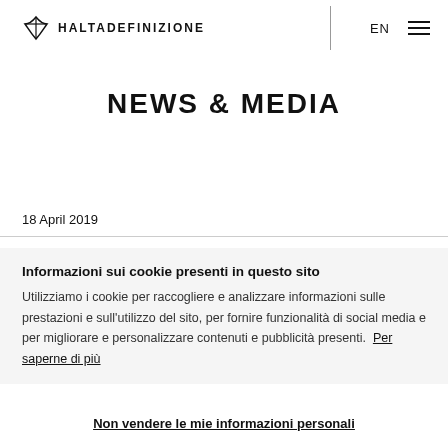HALTADEFINIZIONE EN ☰
NEWS & MEDIA
18 April 2019
Informazioni sui cookie presenti in questo sito
Utilizziamo i cookie per raccogliere e analizzare informazioni sulle prestazioni e sull'utilizzo del sito, per fornire funzionalità di social media e per migliorare e personalizzare contenuti e pubblicità presenti.  Per saperne di più
Non vendere le mie informazioni personali